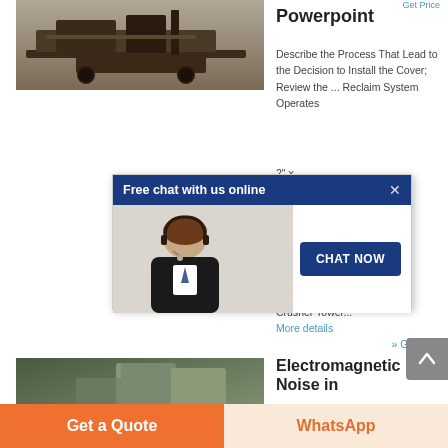[Figure (photo): Industrial mining/crushing machinery on a site, aerial/side view showing conveyor and crusher equipment]
[Figure (screenshot): Live chat popup overlay: 'Free chat with us online' header with blue background, close X button, customer service representative photo with headset, and 'CHAT NOW' blue button]
Powerpoint
Describe the Process That Lead to the Decision to Install the Cover; Review the ... Reclaim System Operates 2" x % our ... or; al to ge a Crusher Tower...
More details
» Get Price
[Figure (photo): Industrial facility with large tanks or silos, person visible in foreground]
Electromagnetic Noise in
Get a Quote
WhatsApp